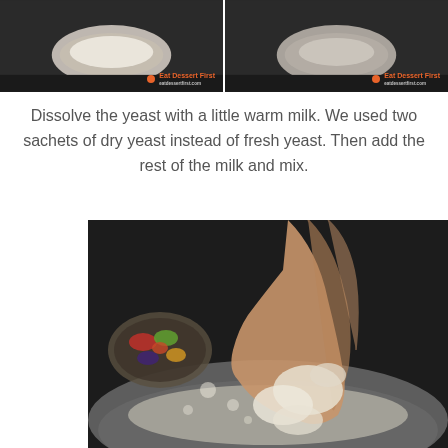[Figure (photo): Two side-by-side video screenshots from 'Eat Dessert First' showing food preparation steps with watermark logos]
Dissolve the yeast with a little warm milk. We used two sachets of dry yeast instead of fresh yeast. Then add the rest of the milk and mix.
[Figure (photo): Close-up photo of hands dissolving yeast/dough in a metal mixing bowl, with a plate of colorful vegetables visible in the background]